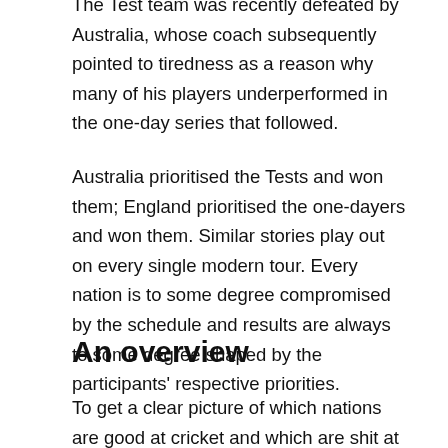The Test team was recently defeated by Australia, whose coach subsequently pointed to tiredness as a reason why many of his players underperformed in the one-day series that followed.
Australia prioritised the Tests and won them; England prioritised the one-dayers and won them. Similar stories play out on every single modern tour. Every nation is to some degree compromised by the schedule and results are always to some degree shaped by the participants’ respective priorities.
An overview
To get a clear picture of which nations are good at cricket and which are shit at cricket, it’s necessary to